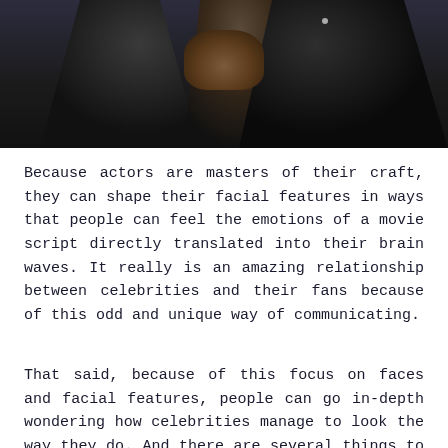[Figure (photo): Two men in dark tuxedos, photo cropped showing upper bodies and hands, dark background]
Because actors are masters of their craft, they can shape their facial features in ways that people can feel the emotions of a movie script directly translated into their brain waves. It really is an amazing relationship between celebrities and their fans because of this odd and unique way of communicating.
That said, because of this focus on faces and facial features, people can go in-depth wondering how celebrities manage to look the way they do. And there are several things to think about. There is tons of cosmetic surgery speculation about every star that you can think of.
There are constant news reports comparing what celebrities used to look like with how they look now. And